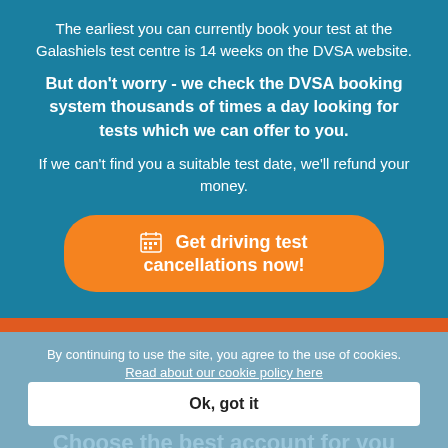The earliest you can currently book your test at the Galashiels test centre is 14 weeks on the DVSA website.
But don't worry - we check the DVSA booking system thousands of times a day looking for tests which we can offer to you.
If we can't find you a suitable test date, we'll refund your money.
Get driving test cancellations now!
By continuing to use the site, you agree to the use of cookies. Read about our cookie policy here
Ok, got it